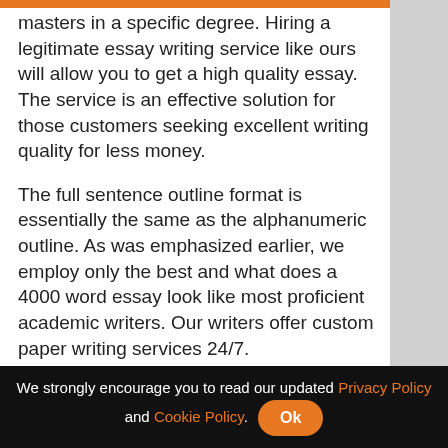masters in a specific degree. Hiring a legitimate essay writing service like ours will allow you to get a high quality essay. The service is an effective solution for those customers seeking excellent writing quality for less money.
The full sentence outline format is essentially the same as the alphanumeric outline. As was emphasized earlier, we employ only the best and what does a 4000 word essay look like most proficient academic writers. Our writers offer custom paper writing services 24/7.
This outline is most often used when preparing a traditional essay. 6dollaressay.com not only provides professional help but also ensures that what does 150 words look like they are giving quality work to their clients. The service will ensure that their customers get…
We strongly encourage you to read our updated Privacy Policy and Cookie Policy. Ok